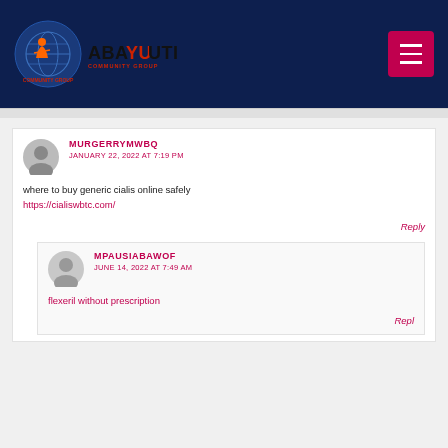[Figure (logo): Abayuuti Community Group logo with globe and figure icon on dark navy header background]
[Figure (other): Red hamburger menu button in top-right of header]
MURGERRYMWBQ
JANUARY 22, 2022 AT 7:19 PM

where to buy generic cialis online safely
https://cialiswbtc.com/

Reply
MPAUSIABAWOF
JUNE 14, 2022 AT 7:49 AM

flexeril without prescription

Reply